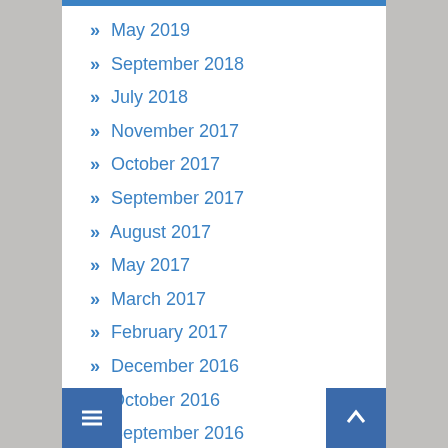May 2019
September 2018
July 2018
November 2017
October 2017
September 2017
August 2017
May 2017
March 2017
February 2017
December 2016
October 2016
September 2016
August 2016